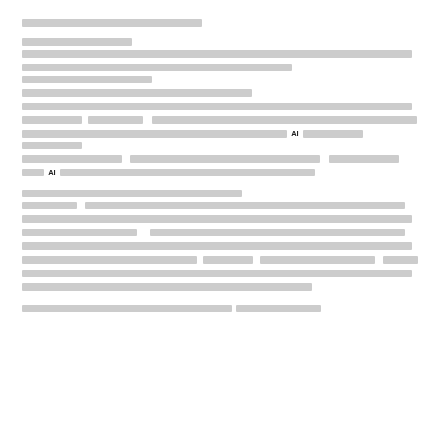[redacted header text]
[redacted section header]
[redacted paragraph text with AI mentions]
[redacted section header 2]
[redacted paragraph text 2]
[redacted partial line at bottom]